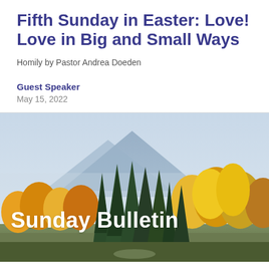Fifth Sunday in Easter: Love! Love in Big and Small Ways
Homily by Pastor Andrea Doeden
Guest Speaker
May 15, 2022
[Figure (photo): Autumn mountain landscape with colorful yellow and orange trees, evergreen pines, and a misty blue mountain in the background. White text overlay reads 'Sunday Bulletin'.]